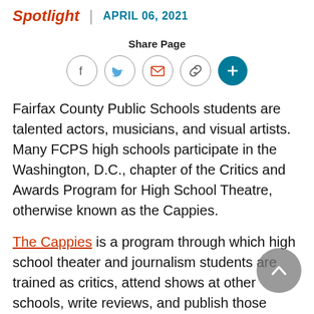Spotlight | APRIL 06, 2021
Share Page
Fairfax County Public Schools students are talented actors, musicians, and visual artists. Many FCPS high schools participate in the Washington, D.C., chapter of the Critics and Awards Program for High School Theatre, otherwise known as the Cappies.
The Cappies is a program through which high school theater and journalism students are trained as critics, attend shows at other schools, write reviews, and publish those